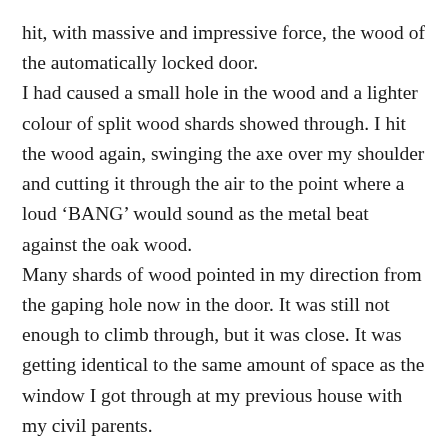hit, with massive and impressive force, the wood of the automatically locked door. I had caused a small hole in the wood and a lighter colour of split wood shards showed through. I hit the wood again, swinging the axe over my shoulder and cutting it through the air to the point where a loud ‘BANG’ would sound as the metal beat against the oak wood. Many shards of wood pointed in my direction from the gaping hole now in the door. It was still not enough to climb through, but it was close. It was getting identical to the same amount of space as the window I got through at my previous house with my civil parents. I beat against the wood again with the axe then tried to pry open the gap with my fingers, it was painful but worth it as the gap started to exceed in width and was now big enough for my body to